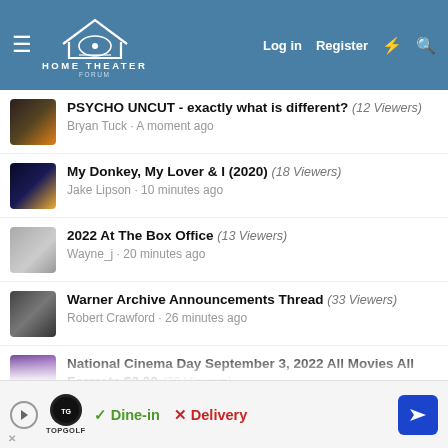Home Theater Forum — Log in | Register
PSYCHO UNCUT - exactly what is different? (12 Viewers) — Bryan Tuck · A moment ago
My Donkey, My Lover & I (2020) (18 Viewers) — Jake Lipson · 10 minutes ago
2022 At The Box Office (13 Viewers) — Wayne_j · 20 minutes ago
Warner Archive Announcements Thread (33 Viewers) — Robert Crawford · 26 minutes ago
National Cinema Day September 3, 2022 All Movies All Formats $3.00 (29 Viewers) — TravisR · 29 minutes ago
PHE Press Release: Star Trek: The Motion Picture Restored Director's Edition and Six-Movie Collection (4k UHD) (17 Viewers)
[Figure (screenshot): Advertisement banner: Topgolf ad with Dine-in checkmark and Delivery X options, navigation arrow icon]